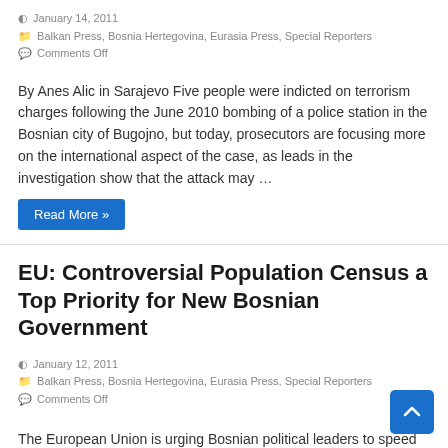By Anes Alic in Sarajevo Five people were indicted on terrorism charges following the June 2010 bombing of a police station in the Bosnian city of Bugojno, but today, prosecutors are focusing more on the international aspect of the case, as leads in the investigation show that the attack may …
Read More »
EU: Controversial Population Census a Top Priority for New Bosnian Government
January 12, 2011
Balkan Press, Bosnia Hertegovina, Eurasia Press, Special Reporters
Comments Off
The European Union is urging Bosnian political leaders to speed up the creation the ruling coalition following October 2010 general elections, saying that the adoption of a national census law should be the new government's top priority. EU officials have repeatedly